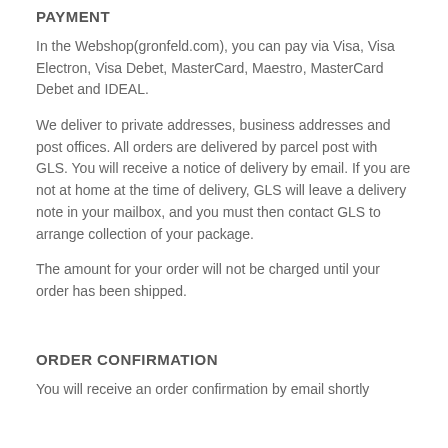PAYMENT
In the Webshop(gronfeld.com), you can pay via Visa, Visa Electron, Visa Debet, MasterCard, Maestro, MasterCard Debet and IDEAL.
We deliver to private addresses, business addresses and post offices. All orders are delivered by parcel post with GLS. You will receive a notice of delivery by email. If you are not at home at the time of delivery, GLS will leave a delivery note in your mailbox, and you must then contact GLS to arrange collection of your package.
The amount for your order will not be charged until your order has been shipped.
ORDER CONFIRMATION
You will receive an order confirmation by email shortly